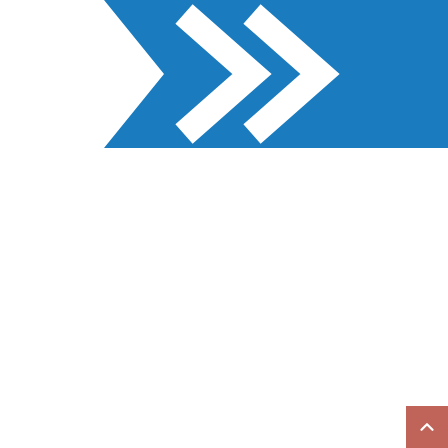[Figure (logo): Blue arrow/chevron logo on white background, pointing right with two white chevron cutouts]
0
Share